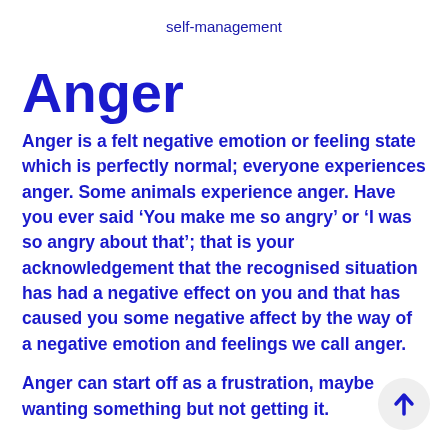self-management
Anger
Anger is a felt negative emotion or feeling state which is perfectly normal; everyone experiences anger. Some animals experience anger. Have you ever said ‘You make me so angry’ or ‘I was so angry about that’; that is your acknowledgement that the recognised situation has had a negative effect on you and that has caused you some negative affect by the way of a negative emotion and feelings we call anger.
Anger can start off as a frustration, maybe wanting something but not getting it.